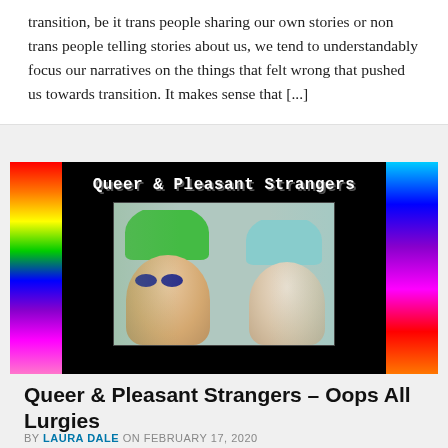transition, be it trans people sharing our own stories or non trans people telling stories about us, we tend to understandably focus our narratives on the things that felt wrong that pushed us towards transition. It makes sense that [...]
[Figure (photo): Thumbnail image for 'Queer & Pleasant Strangers' showing two people with colorful hair (green and teal/blue) smiling at the camera, on a black background with rainbow stripe borders on left and right. White pixelated/retro font title 'Queer & Pleasant Strangers' at top.]
Queer & Pleasant Strangers – Oops All Lurgies
BY LAURA DALE ON FEBRUARY 17, 2020